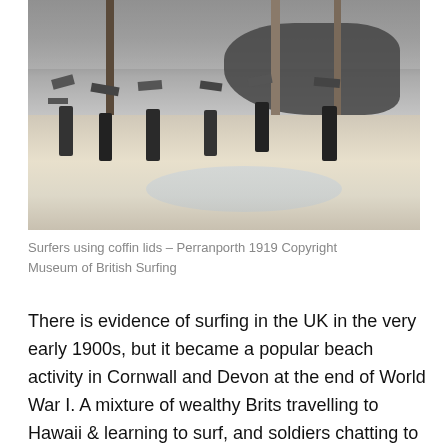[Figure (photo): Black and white photograph of several children/people on a beach holding surfboards (coffin lids) above their heads. Trees and rocks visible in the background. Wet sand and shallow water in the foreground. Perranporth, 1919.]
Surfers using coffin lids – Perranporth 1919 Copyright Museum of British Surfing
There is evidence of surfing in the UK in the very early 1900s, but it became a popular beach activity in Cornwall and Devon at the end of World War I. A mixture of wealthy Brits travelling to Hawaii & learning to surf, and soldiers chatting to Commonwealth surfers in the trenches combined to create something quintessentially British.